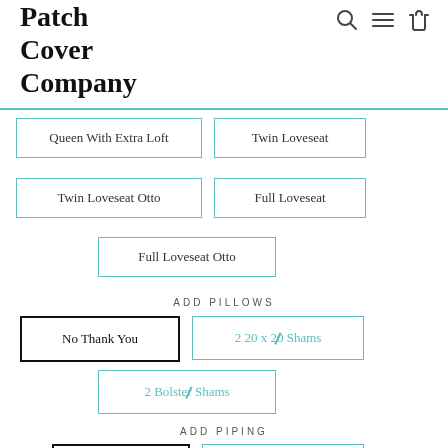Patch Cover Company
Queen With Extra Loft
Twin Loveseat
Twin Loveseat Otto
Full Loveseat
Full Loveseat Otto
ADD PILLOWS
No Thank You
2 20 x 20 Shams
2 Bolster Shams
ADD PIPING
No Piping
Yes Add Piping